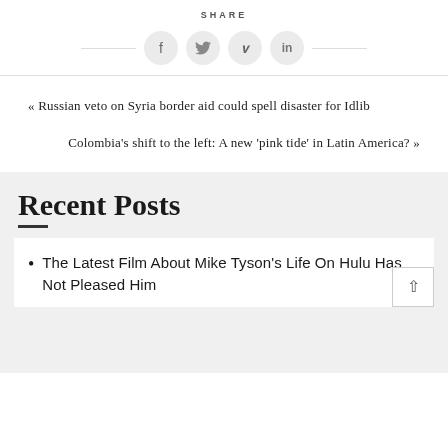SHARE
[Figure (infographic): Social share buttons: Facebook (f), Twitter (bird), Pinterest (p), LinkedIn (in) — circular grey icons with horizontal lines on each side]
« Russian veto on Syria border aid could spell disaster for Idlib
Colombia's shift to the left: A new 'pink tide' in Latin America? »
Recent Posts
The Latest Film About Mike Tyson's Life On Hulu Has Not Pleased Him